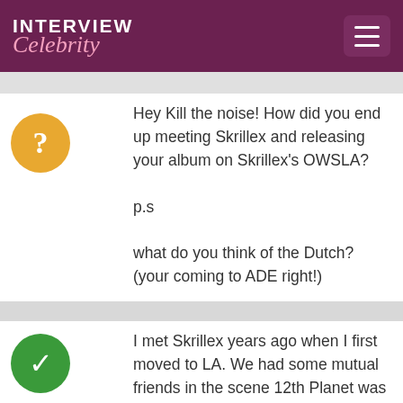INTERVIEW Celebrity
Hey Kill the noise! How did you end up meeting Skrillex and releasing your album on Skrillex's OWSLA?

p.s

what do you think of the Dutch? (your coming to ADE right!)

Noorseviking
I met Skrillex years ago when I first moved to LA. We had some mutual friends in the scene 12th Planet was really the guy that introduced me to him. Right around this time he had already put out "my name is Skrillex" ep and was just about to put out "scary monsters and nice sprites" I had just put out "muscle rollers" a collab with feed me. to give you an idea of the time period. I was working